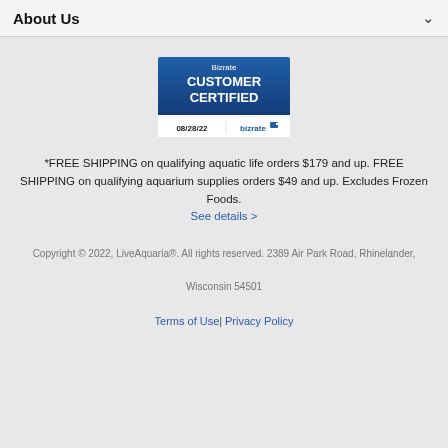About Us
[Figure (logo): Bizrate Customer Certified badge dated 08/28/22]
*FREE SHIPPING on qualifying aquatic life orders $179 and up. FREE SHIPPING on qualifying aquarium supplies orders $49 and up. Excludes Frozen Foods. See details >
Copyright © 2022, LiveAquaria®. All rights reserved. 2389 Air Park Road, Rhinelander, Wisconsin 54501
Terms of Use| Privacy Policy